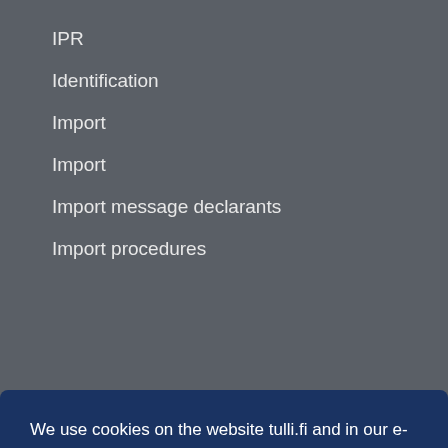IPR
Identification
Import
Import
Import message declarants
Import procedures
We use cookies on the website tulli.fi and in our e-services to ensure that the development of our sites is based on correct user information. More information: Terms of use for tulli.fi and Online services terms of use.
I ACCEPT ALL COOKIES
I ACCEPT ONLY NECESSARY COOKIES